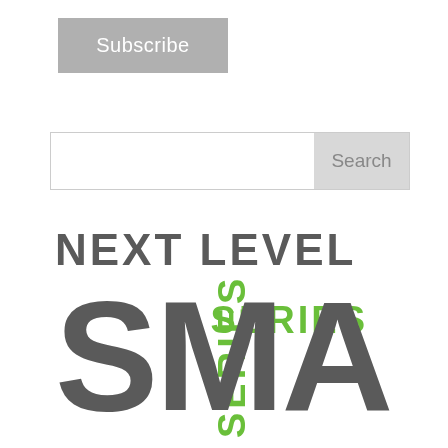Subscribe
Search
[Figure (logo): Next Level Smart Series logo with gray bold text for 'NEXT LEVEL SMART' and green bold vertical text for 'SERIES']